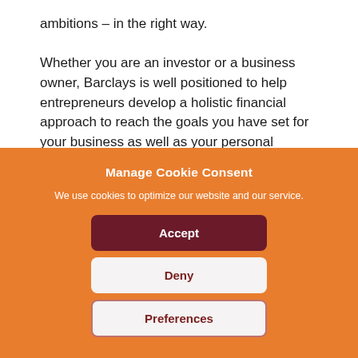ambitions – in the right way.

Whether you are an investor or a business owner, Barclays is well positioned to help entrepreneurs develop a holistic financial approach to reach the goals you have set for your business as well as your personal ambitions. Their approach is built on forging long-
Manage Cookie Consent
We use cookies to optimize our website and our service.
Accept
Deny
Preferences